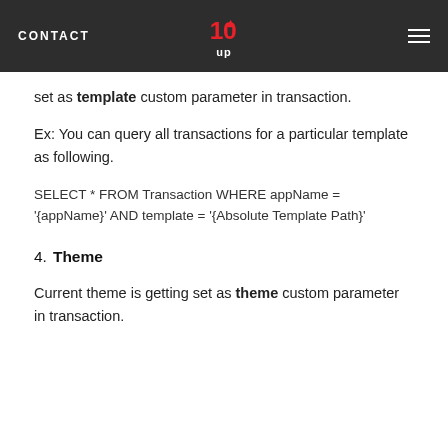CONTACT | 10up | menu
set as template custom parameter in transaction.
Ex: You can query all transactions for a particular template as following.
SELECT * FROM Transaction WHERE appName = '{appName}' AND template = '{Absolute Template Path}'
4. Theme
Current theme is getting set as theme custom parameter in transaction.